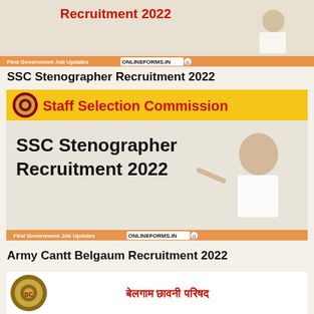[Figure (infographic): Top banner showing 'Recruitment 2022' in red bold text with a person pointing, orange footer bar with 'Find Government Job Updates ONLINEFORMS.IN' text]
SSC Stenographer Recruitment 2022
[Figure (infographic): SSC Staff Selection Commission banner with yellow header showing SSC emblem and 'Staff Selection Commission' in red, body showing 'SSC Stenographer Recruitment 2022' in bold black with smiling person pointing, orange footer bar 'Find Government Job Updates ONLINEFORMS.IN']
Army Cantt Belgaum Recruitment 2022
[Figure (infographic): Army Cantt Belgaum banner showing circular emblem on left and Hindi text 'बेलगाम छावनी परिषद' in red on right]